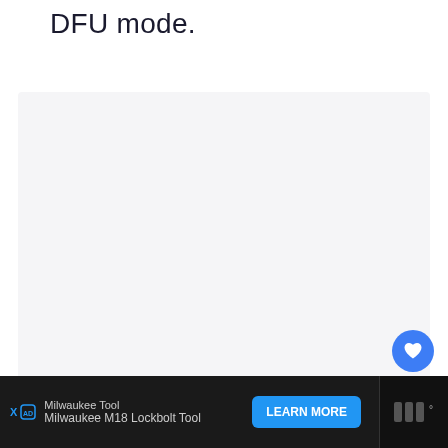DFU mode.
[Figure (other): Large light gray content area placeholder]
[Figure (other): Blue circular heart/favorite button icon]
[Figure (other): White circular share button icon]
Milwaukee Tool
Milwaukee M18 Lockbolt Tool
LEARN MORE